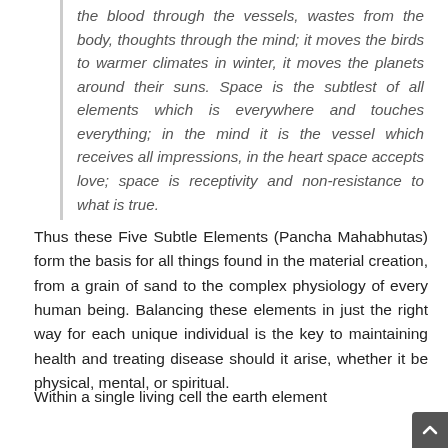the blood through the vessels, wastes from the body, thoughts through the mind; it moves the birds to warmer climates in winter, it moves the planets around their suns. Space is the subtlest of all elements which is everywhere and touches everything; in the mind it is the vessel which receives all impressions, in the heart space accepts love; space is receptivity and non-resistance to what is true.
Thus these Five Subtle Elements (Pancha Mahabhutas) form the basis for all things found in the material creation, from a grain of sand to the complex physiology of every human being. Balancing these elements in just the right way for each unique individual is the key to maintaining health and treating disease should it arise, whether it be physical, mental, or spiritual.
Within a single living cell the earth element